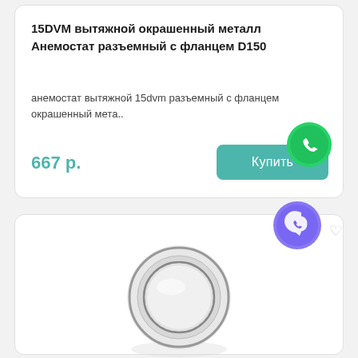15DVM вытяжной окрашенный металл Анемостат разъемный с фланцем D150
анемостат вытяжной 15dvm разъемный с фланцем окрашенный мета..
667 р.
[Figure (screenshot): WhatsApp icon circle with phone handset symbol on green background]
Купить
[Figure (screenshot): Viber app icon - purple circle with white phone/chat symbol]
[Figure (photo): White round metal anemosta (exhaust diffuser) with flange D150, circular disc shape with ridged edge]